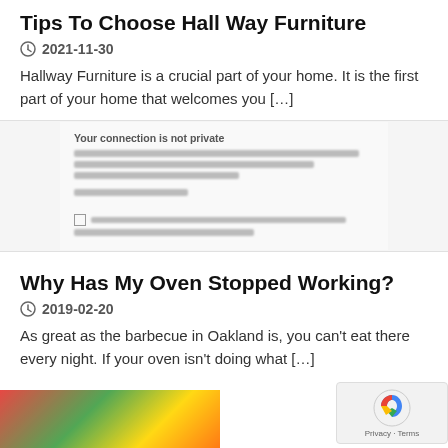Tips To Choose Hall Way Furniture
2021-11-30
Hallway Furniture is a crucial part of your home. It is the first part of your home that welcomes you […]
[Figure (screenshot): Blurred browser security warning: 'Your connection is not private']
Why Has My Oven Stopped Working?
2019-02-20
As great as the barbecue in Oakland is, you can't eat there every night. If your oven isn't doing what […]
[Figure (photo): Colorful food items at the bottom of the page]